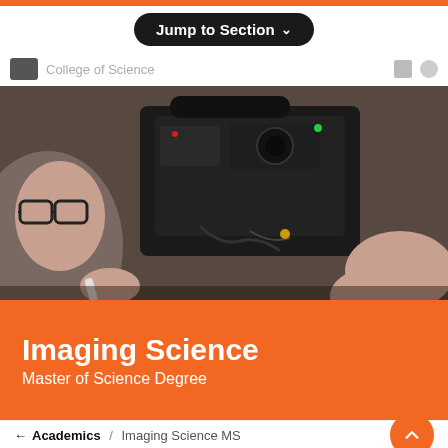Jump to Section
College of Science
[Figure (photo): Person with glasses closely examining and working on a large professional camera/imaging device with another person's hands visible adjusting components]
Imaging Science
Master of Science Degree
← Academics / Imaging Science MS